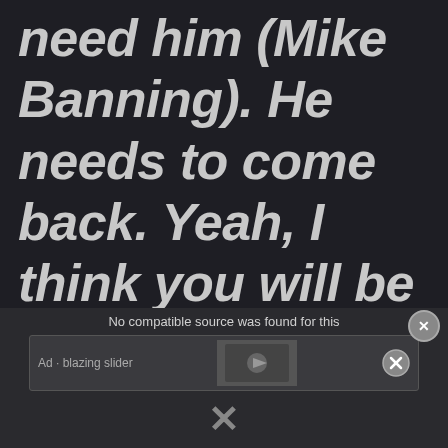need him (Mike Banning). He needs to come back. Yeah, I think you will be seeing another. We're toying away with another really
[Figure (screenshot): Ad overlay with 'No compatible source was found for this' message and a video ad thumbnail with an X close button]